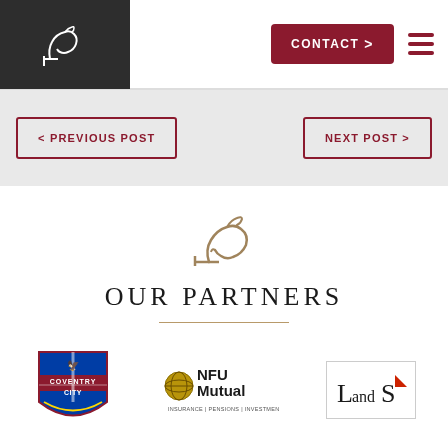CONTACT >  ☰
< PREVIOUS POST
NEXT POST >
[Figure (logo): Horse head line drawing logo (gold/brown) for the site]
OUR PARTNERS
[Figure (logo): Coventry City FC crest logo, red and blue shield with eagle]
[Figure (logo): NFU Mutual logo - gold globe icon with text NFU Mutual INSURANCE | PENSIONS | INVESTMENTS]
[Figure (logo): LandS logo with red triangle/flag marker, serif font]